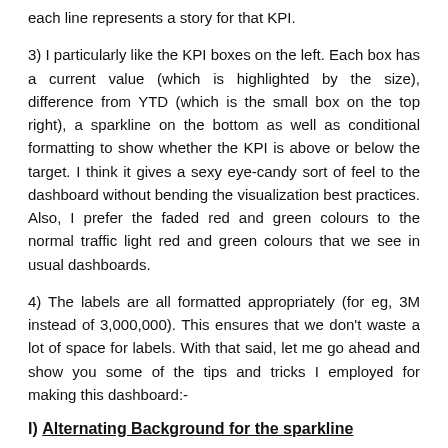each line represents a story for that KPI.
3) I particularly like the KPI boxes on the left. Each box has a current value (which is highlighted by the size), difference from YTD (which is the small box on the top right), a sparkline on the bottom as well as conditional formatting to show whether the KPI is above or below the target. I think it gives a sexy eye-candy sort of feel to the dashboard without bending the visualization best practices. Also, I prefer the faded red and green colours to the normal traffic light red and green colours that we see in usual dashboards.
4) The labels are all formatted appropriately (for eg, 3M instead of 3,000,000). This ensures that we don't waste a lot of space for labels. With that said, let me go ahead and show you some of the tips and tricks I employed for making this dashboard:-
I) Alternating Background for the sparkline
[Figure (screenshot): A screenshot showing a sparkline chart with alternating grey and white background bands, with a dark diagonal line trending upward from left to right.]